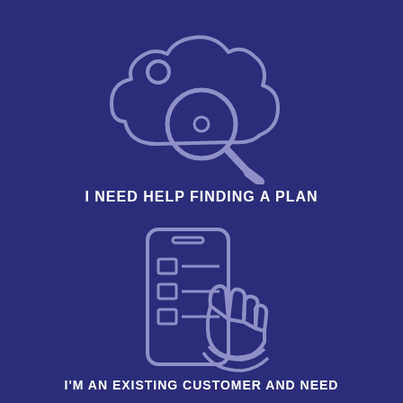[Figure (illustration): Cloud with magnifying glass icon, outline style in light purple/lavender on dark navy background]
I NEED HELP FINDING A PLAN
[Figure (illustration): Smartphone with checklist and hand pointing/tapping icon, outline style in light purple/lavender on dark navy background]
I'M AN EXISTING CUSTOMER AND NEED